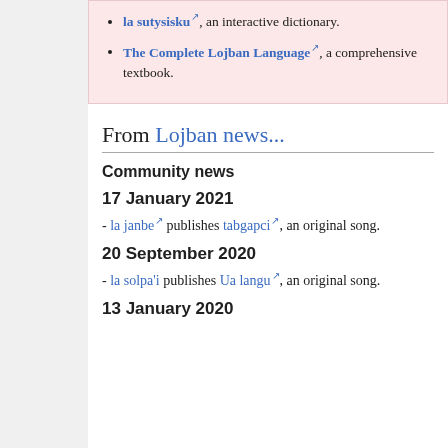la sutysisku, an interactive dictionary.
The Complete Lojban Language, a comprehensive textbook.
From Lojban news...
Community news
17 January 2021
- la janbe publishes tabgapci, an original song.
20 September 2020
- la solpa'i publishes Ua langu, an original song.
13 January 2020